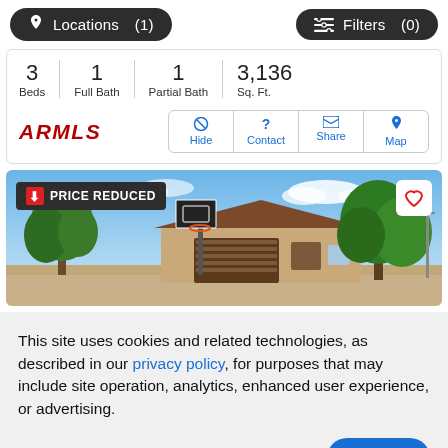Locations (1)   Filters (0)
| Beds | Full Bath | Partial Bath | Sq. Ft. |
| --- | --- | --- | --- |
| 3 | 1 | 1 | 3,136 |
[Figure (screenshot): ARMLS logo and action buttons: Hide, Contact, Share, Map]
[Figure (photo): House exterior photo with basketball hoop, trees, blue sky. Price Reduced badge on top left, heart icon top right.]
This site uses cookies and related technologies, as described in our privacy policy, for purposes that may include site operation, analytics, enhanced user experience, or advertising.
Manage Preferences   Accept